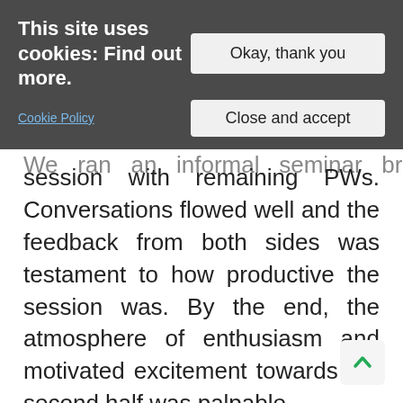This site uses cookies: Find out more.
Cookie Policy
We ran an informal seminar brainstorming session with remaining PWs. Conversations flowed well and the feedback from both sides was testament to how productive the session was. By the end, the atmosphere of enthusiasm and motivated excitement towards the second half was palpable.
Aside from bringing energy to the training and forcing PWs to raise their game in the face of experts, the help of Christine, Margaret, and